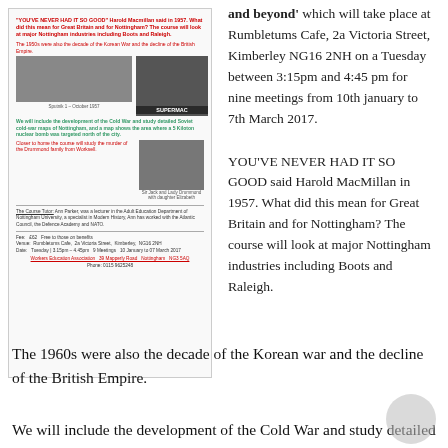[Figure (illustration): Scanned flyer for a WEA course about 1950s-60s Nottingham, featuring photos of Harold Macmillan (labeled SUPERMAC), Cold War imagery, and Sir and Lady Drummond. Includes course details for Rumbletums Cafe, Kimberley.]
and beyond' which will take place at Rumbletums Cafe, 2a Victoria Street, Kimberley NG16 2NH on a Tuesday between 3:15pm and 4:45 pm for nine meetings from 10th january to 7th March 2017.
YOU'VE NEVER HAD IT SO GOOD said Harold MacMillan in 1957. What did this mean for Great Britain and for Nottingham? The course will look at major Nottingham industries including Boots and Raleigh.
The 1960s were also the decade of the Korean war and the decline of the British Empire.
We will include the development of the Cold War and study detailed